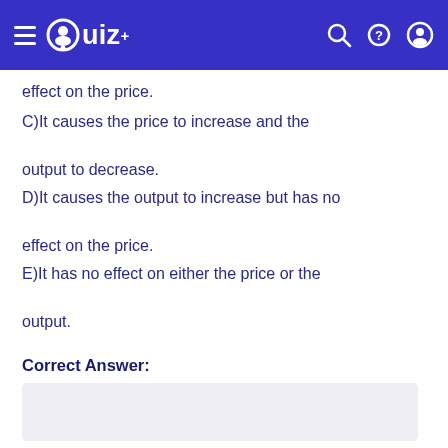Quiz+
effect on the price.
C)It causes the price to increase and the output to decrease.
D)It causes the output to increase but has no effect on the price.
E)It has no effect on either the price or the output.
Correct Answer: